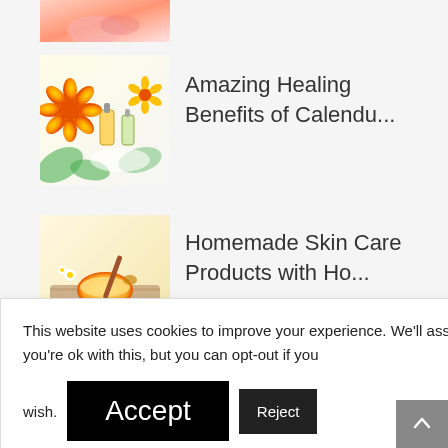[Figure (photo): Partial thumbnail at the top of the page showing hands/nails with pink/red color]
[Figure (photo): Thumbnail of calendula flowers and essential oil bottles on a white surface]
Amazing Healing Benefits of Calendu...
[Figure (photo): Thumbnail of honey in a bowl with flowers and wooden items on a wooden surface]
Homemade Skin Care Products with Ho...
This website uses cookies to improve your experience. We'll assume you're ok with this, but you can opt-out if you wish.
Accept
Reject
Read More